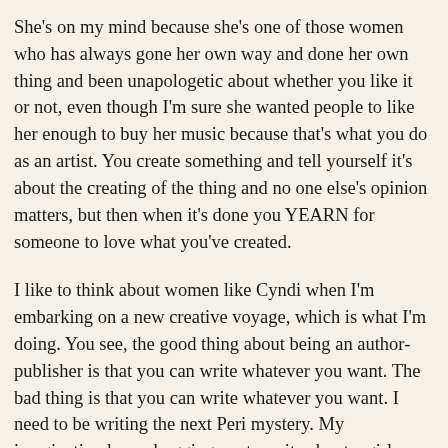She's on my mind because she's one of those women who has always gone her own way and done her own thing and been unapologetic about whether you like it or not, even though I'm sure she wanted people to like her enough to buy her music because that's what you do as an artist. You create something and tell yourself it's about the creating of the thing and no one else's opinion matters, but then when it's done you YEARN for someone to love what you've created.
I like to think about women like Cyndi when I'm embarking on a new creative voyage, which is what I'm doing. You see, the good thing about being an author-publisher is that you can write whatever you want. The bad thing is that you can write whatever you want. I need to be writing the next Peri mystery. My imagination keeps bugging me to write about a girl pirate.
So I'm writing both at the same time. Don't worry, I can keep them both separate. Peri will not be swashbuckling any time soon.